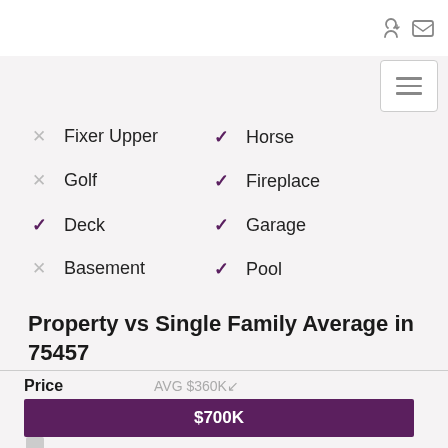✗ Fixer Upper
✓ Horse
✗ Golf
✓ Fireplace
✓ Deck
✓ Garage
✗ Basement
✓ Pool
Property vs Single Family Average in 75457
|  |  |  |
| --- | --- | --- |
| Price | AVG $360K | $700K |
| Visits | AVG 17– |  |